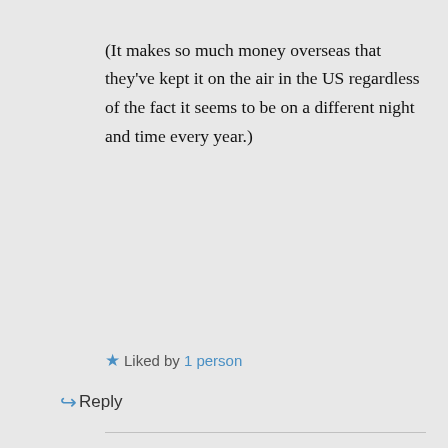(It makes so much money overseas that they've kept it on the air in the US regardless of the fact it seems to be on a different night and time every year.)
★ Liked by 1 person
↪ Reply
Nicola @ Thoughts on Fantasy on August 4, 2018 at 6:04 pm
Heresy!! 🙂 No, while I do love the BBC Sherlock, they really do make you wait ages for very short seasons!